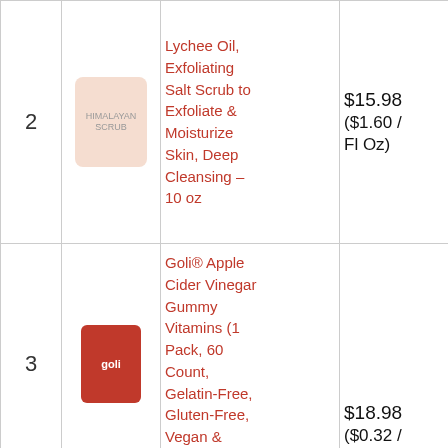| # | Image | Product | Price | Action |
| --- | --- | --- | --- | --- |
| 2 | [Himalayan Scrub image] | Lychee Oil, Exfoliating Salt Scrub to Exfoliate & Moisturize Skin, Deep Cleansing – 10 oz | $15.98 ($1.60 / Fl Oz) | Buy on Amazon |
| 3 | [Goli image] | Goli® Apple Cider Vinegar Gummy Vitamins (1 Pack, 60 Count, Gelatin-Free, Gluten-Free, Vegan & Non-GMO... | $18.98 ($0.32 / Count) | Buy on Amazon |